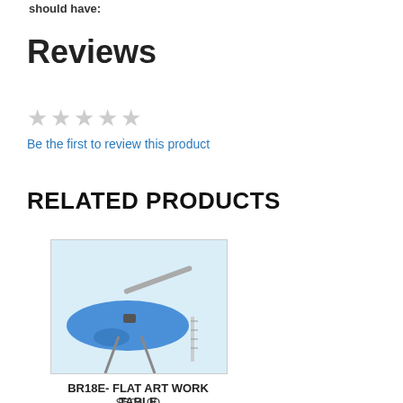should have:
Reviews
[Figure (other): Five empty/grey star rating icons indicating no reviews yet]
Be the first to review this product
RELATED PRODUCTS
[Figure (photo): Product photo of BR18E Flat Art Work Table - a blue flat disc shape on a metal stand with a sewing/cutting mechanism arm]
BR18E- FLAT ART WORK TABLE
$504.00